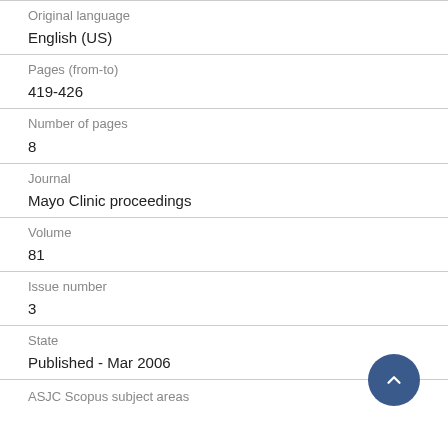Original language
English (US)
Pages (from-to)
419-426
Number of pages
8
Journal
Mayo Clinic proceedings
Volume
81
Issue number
3
State
Published - Mar 2006
ASJC Scopus subject areas